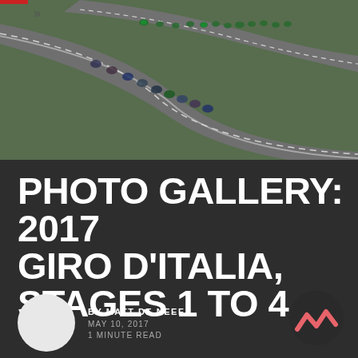[Figure (photo): Aerial/overhead view of a cycling peloton rounding a curved road during the 2017 Giro d'Italia, with green vegetation on the roadside]
PHOTO GALLERY: 2017 GIRO D'ITALIA, STAGES 1 TO 4
BY MATT DE NEEF
MAY 10, 2017
1 MINUTE READ